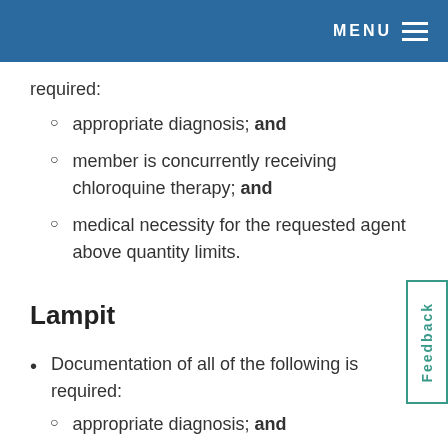MENU
required:
appropriate diagnosis; and
member is concurrently receiving chloroquine therapy; and
medical necessity for the requested agent above quantity limits.
Lampit
Documentation of all of the following is required:
appropriate diagnosis; and